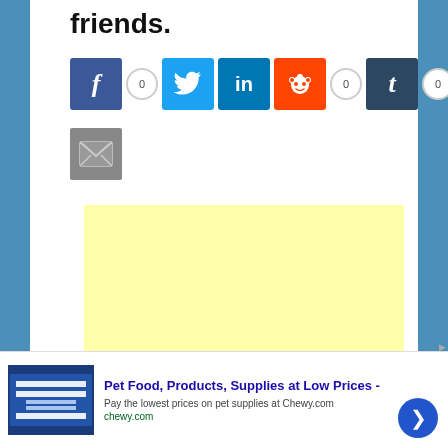friends.
[Figure (screenshot): Social media share buttons row: Facebook (f) with count 0, Twitter (bird icon), LinkedIn (in), Reddit (alien icon) with count 0, Tumblr (t) with count 0, VK (VK icon); below that an email/envelope icon button]
[Figure (other): Large yellow advertisement placeholder rectangle]
[Figure (screenshot): Advertisement banner: Pet Food, Products, Supplies at Low Prices - Pay the lowest prices on pet supplies at Chewy.com. chewy.com. Shows product image thumbnail, close X button, and blue circular next arrow button.]